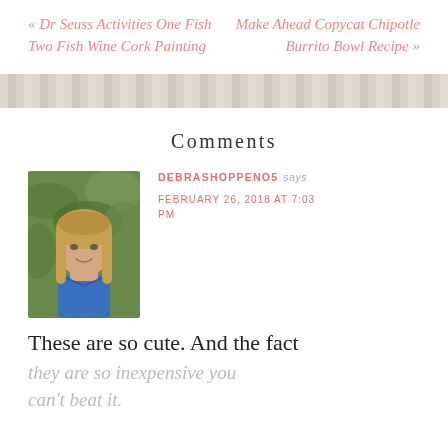« Dr Seuss Activities One Fish Two Fish Wine Cork Painting
Make Ahead Copycat Chipotle Burrito Bowl Recipe »
Comments
[Figure (photo): Profile photo of a woman with long blonde hair wearing a blue top, outdoors with green foliage background]
DEBRASHOPPENO5 says FEBRUARY 26, 2018 AT 7:03 PM
These are so cute. And the fact they are so inexpensive you can't beat it.